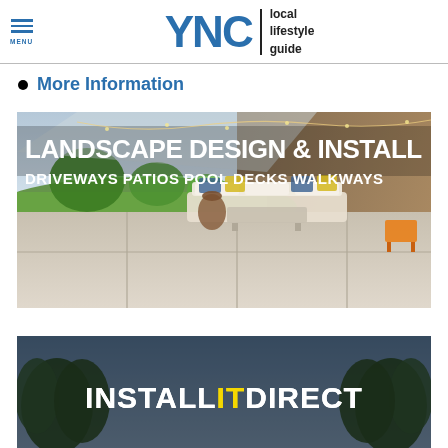YNC | local lifestyle guide
More Information
[Figure (photo): Landscape design & install advertisement showing an outdoor patio with sofa, coffee table, and large concrete tiles. Text overlay: LANDSCAPE DESIGN & INSTALL / DRIVEWAYS  PATIOS  POOL DECKS  WALKWAYS]
[Figure (photo): Install It Direct advertisement showing trees in background with white text INSTALL IT DIRECT on dark overlay]